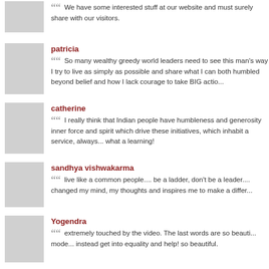We have some interested stuff at our website and must surely share with our visitors.
patricia
So many wealthy greedy world leaders need to see this man's way I try to live as simply as possible and share what I can both humbled beyond belief and how I lack courage to take BIG actio...
catherine
I really think that Indian people have humbleness and generosity inner force and spirit which drive these initiatives, which inhabit a service, always... what a learning!
sandhya vishwakarma
live like a common people.... be a ladder, don't be a leader.... changed my mind, my thoughts and inspires me to make a differ...
Yogendra
extremely touched by the video. The last words are so beauti... mode... instead get into equality and help! so beautiful.
rajeshwari
i m totally touched by this video.there are so many needy pe...